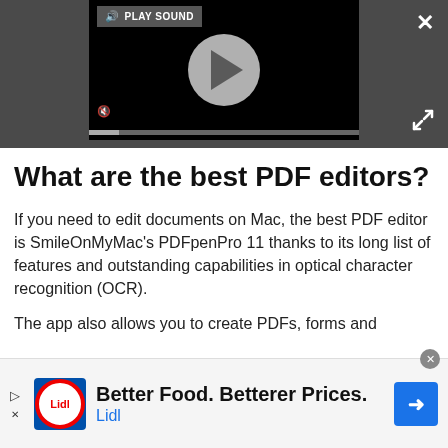[Figure (screenshot): Video player with play button, sound control, progress bar, close X button and expand icon on dark grey background]
What are the best PDF editors?
If you need to edit documents on Mac, the best PDF editor is SmileOnMyMac's PDFpenPro 11 thanks to its long list of features and outstanding capabilities in optical character recognition (OCR).
The app also allows you to create PDFs, forms and
[Figure (screenshot): Lidl advertisement banner: Better Food. Betterer Prices. with Lidl logo and blue arrow icon]